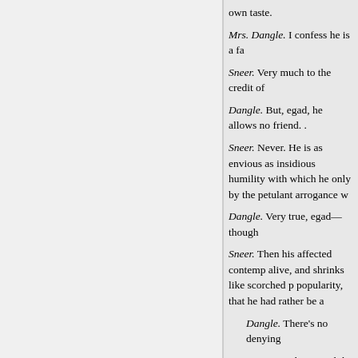own taste.
Mrs. Dangle. I confess he is a fa
Sneer. Very much to the credit of
Dangle. But, egad, he allows no friend. .
Sneer. Never. He is as envious as insidious humility with which he only by the petulant arrogance w
Dangle. Very true, egad—though
Sneer. Then his affected contemp alive, and shrinks like scorched p popularity, that he had rather be a
Dangle. There's no denying
Sneer. You have read the tra
Dangle. Oh, yes; he sent it t
Sneer. Well, and you think i
Dangle. Why, between ourselves here (Aside)—finished and most
Sir Fretful (without). Mr. Snee